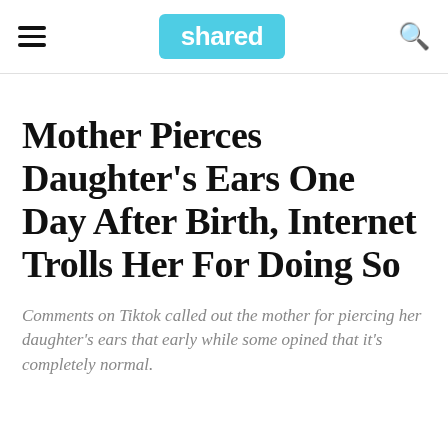shared
Mother Pierces Daughter's Ears One Day After Birth, Internet Trolls Her For Doing So
Comments on Tiktok called out the mother for piercing her daughter's ears that early while some opined that it's completely normal.